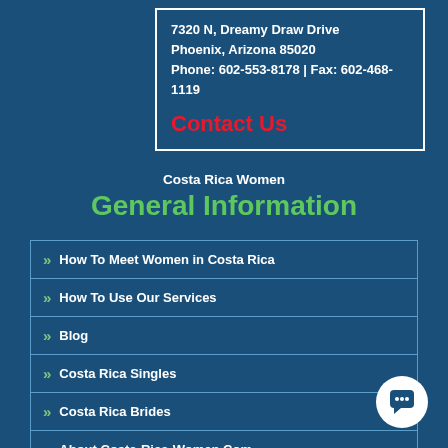7320 N, Dreamy Draw Drive
Phoenix, Arizona 85020
Phone: 602-553-8178  |  Fax: 602-468-1119
Contact Us
Costa Rica Women
General Information
» How To Meet Women in Costa Rica
» How To Use Our Services
» Blog
» Costa Rica Singles
» Costa Rica Brides
» About Costa-Rica-Women.Com